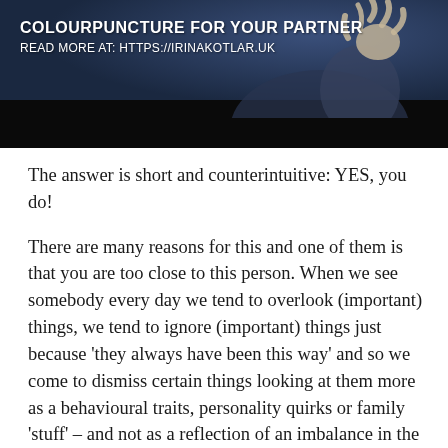[Figure (photo): Banner image showing a person gesturing with hand raised, with text overlay: 'COLOURPUNCTURE FOR YOUR PARTNER' and 'READ MORE AT: HTTPS://IRINAKOTLAR.UK' on a dark blue background]
The answer is short and counterintuitive: YES, you do!
There are many reasons for this and one of them is that you are too close to this person. When we see somebody every day we tend to overlook (important) things, we tend to ignore (important) things just because 'they always have been this way' and so we come to dismiss certain things looking at them more as a behavioural traits, personality quirks or family 'stuff' – and not as a reflection of an imbalance in the